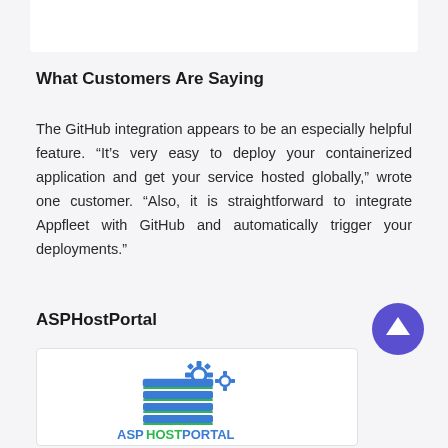What Customers Are Saying
The GitHub integration appears to be an especially helpful feature. “It’s very easy to deploy your containerized application and get your service hosted globally,” wrote one customer. “Also, it is straightforward to integrate Appfleet with GitHub and automatically trigger your deployments.”
ASPHostPortal
[Figure (logo): ASPHostPortal logo with blue stacked server icon and gear symbols, with the text ASPHOSTPORTAL in blue and green]